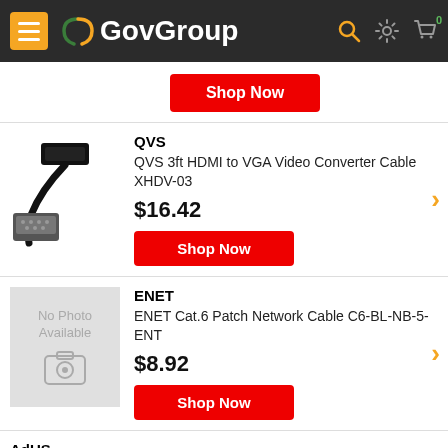GovGroup
[Figure (screenshot): Shop Now button (partial product above, cut off)]
QVS
QVS 3ft HDMI to VGA Video Converter Cable XHDV-03
$16.42
[Figure (photo): HDMI to VGA cable product image on white background]
ENET
ENET Cat.6 Patch Network Cable C6-BL-NB-5-ENT
$8.92
[Figure (photo): No Photo Available placeholder with camera icon]
AdUS (partial, cut off at bottom)